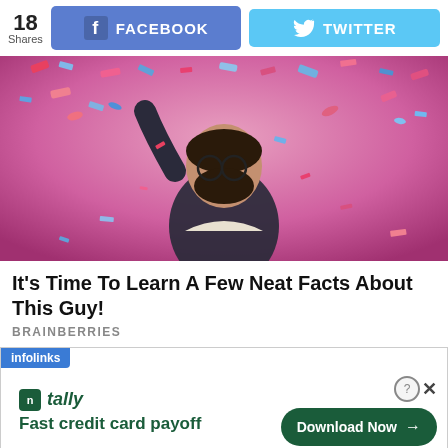18 Shares | FACEBOOK | TWITTER
[Figure (photo): Man with glasses and beard raising one arm in celebration, surrounded by colorful confetti of pink, red, and blue.]
It's Time To Learn A Few Neat Facts About This Guy!
BRAINBERRIES
[Figure (infographic): Infolinks advertisement banner featuring Tally brand logo and tagline 'Fast credit card payoff' with a 'Download Now' button.]